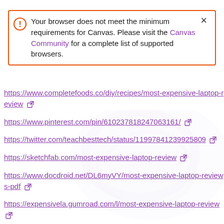[Figure (screenshot): Browser alert box with orange border: 'Your browser does not meet the minimum requirements for Canvas. Please visit the Canvas Community for a complete list of supported browsers.' with a close X button.]
https://www.completefoods.co/diy/recipes/most-expensive-laptop-review
https://www.pinterest.com/pin/610237818247063161/
https://twitter.com/teachbesttech/status/11979841239925809…
https://sketchfab.com/most-expensive-laptop-review
https://www.docdroid.net/DL6myVY/most-expensive-laptop-reviews-pdf
https://expensivela.gumroad.com/l/most-expensive-laptop-review
https://www.spreaker.com/show/most-expensive-laptop-